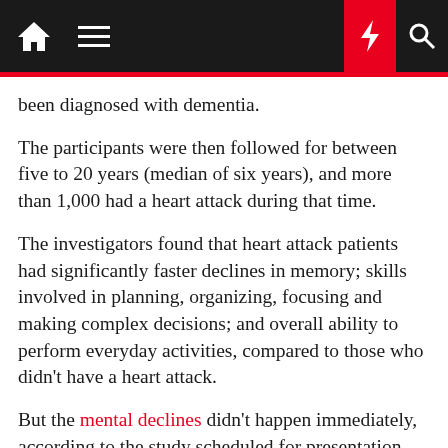Navigation bar with home, menu, night mode, flash, and search icons
been diagnosed with dementia.
The participants were then followed for between five to 20 years (median of six years), and more than 1,000 had a heart attack during that time.
The investigators found that heart attack patients had significantly faster declines in memory; skills involved in planning, organizing, focusing and making complex decisions; and overall ability to perform everyday activities, compared to those who didn't have a heart attack.
But the mental declines didn't happen immediately, according to the study scheduled for presentation both online and in New Orleans at the American Stroke Association's annual meeting, Feb. 8 to 11.